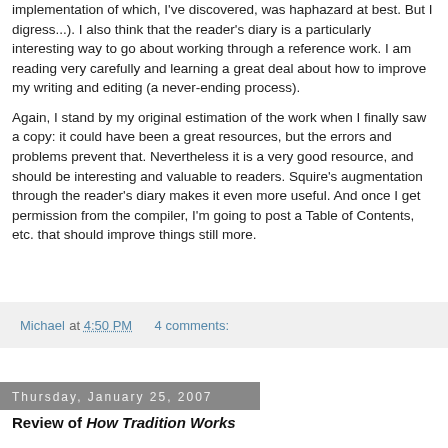implementation of which, I've discovered, was haphazard at best. But I digress...). I also think that the reader's diary is a particularly interesting way to go about working through a reference work. I am reading very carefully and learning a great deal about how to improve my writing and editing (a never-ending process).
Again, I stand by my original estimation of the work when I finally saw a copy: it could have been a great resources, but the errors and problems prevent that. Nevertheless it is a very good resource, and should be interesting and valuable to readers. Squire's augmentation through the reader's diary makes it even more useful. And once I get permission from the compiler, I'm going to post a Table of Contents, etc. that should improve things still more.
Michael at 4:50 PM    4 comments:
Thursday, January 25, 2007
Review of How Tradition Works